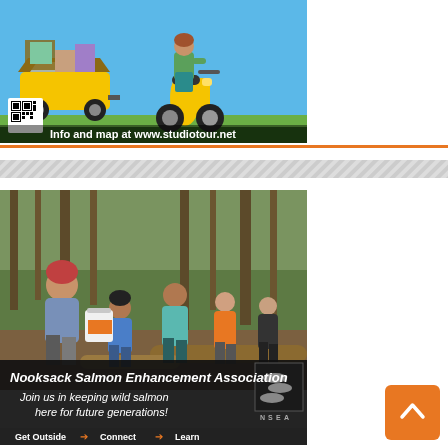[Figure (photo): Advertisement for a studio tour showing a woman riding a yellow scooter and a yellow golf cart loaded with art items, with text 'Info and map at www.studiotour.net' and a QR code.]
[Figure (photo): Advertisement for the Nooksack Salmon Enhancement Association showing a group of smiling young people outdoors in a forested area holding a white bucket. Text reads: 'Nooksack Salmon Enhancement Association', 'Join us in keeping wild salmon here for future generations!', 'Get Outside → Connect → Learn']